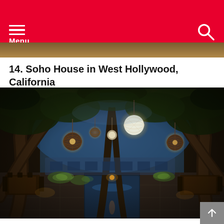Menu
[Figure (photo): Partially visible photograph at top of previous article entry]
14. Soho House in West Hollywood, California
[Figure (photo): Nighttime outdoor dining area at Soho House West Hollywood, featuring large olive trees overhead, hanging wicker and globe pendant lights, a long narrow reflecting pool down the center, dining tables and chairs on both sides, and a blue-lit background visible through the trees]